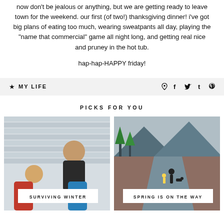now don't be jealous or anything, but we are getting ready to leave town for the weekend. our first (of two!) thanksgiving dinner! i've got big plans of eating too much, wearing sweatpants all day, playing the "name that commercial" game all night long, and getting real nice and pruney in the hot tub.
hap-hap-HAPPY friday!
MY LIFE
PICKS FOR YOU
[Figure (photo): Photo of children in winter jackets standing outside against a wall, with label 'SURVIVING WINTER']
[Figure (photo): Photo of a person walking a dog down a road with mountains and trees in background, with label 'SPRING IS ON THE WAY']